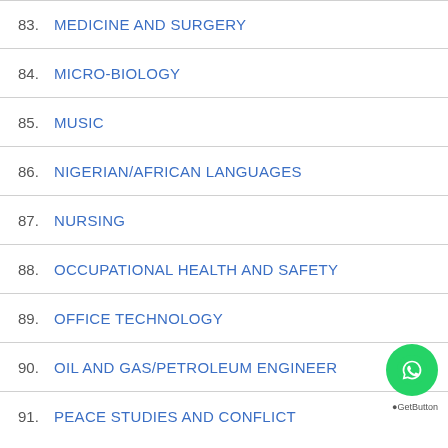83. MEDICINE AND SURGERY
84. MICRO-BIOLOGY
85. MUSIC
86. NIGERIAN/AFRICAN LANGUAGES
87. NURSING
88. OCCUPATIONAL HEALTH AND SAFETY
89. OFFICE TECHNOLOGY
90. OIL AND GAS/PETROLEUM ENGINEER
91. PEACE STUDIES AND CONFLICT